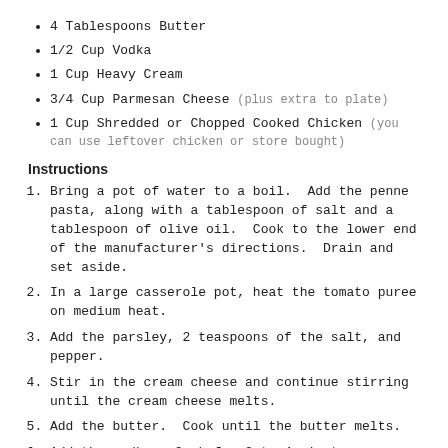4 Tablespoons Butter
1/2 Cup Vodka
1 Cup Heavy Cream
3/4 Cup Parmesan Cheese (plus extra to plate)
1 Cup Shredded or Chopped Cooked Chicken (you can use leftover chicken or store bought)
Instructions
Bring a pot of water to a boil.  Add the penne pasta, along with a tablespoon of salt and a tablespoon of olive oil.  Cook to the lower end of the manufacturer's directions.  Drain and set aside.
In a large casserole pot, heat the tomato puree on medium heat.
Add the parsley, 2 teaspoons of the salt, and pepper.
Stir in the cream cheese and continue stirring until the cream cheese melts.
Add the butter.  Cook until the butter melts.
Add the vodka.  Cook for 2 to 4 minutes.
Lower the heat to low-medium, and stir in the heavy cream.